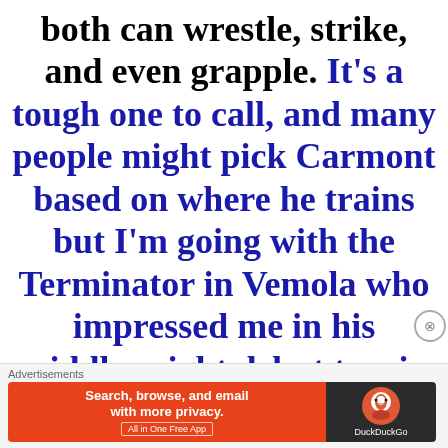both can wrestle, strike, and even grapple. It's a tough one to call, and many people might pick Carmont based on where he trains but I'm going with the Terminator in Vemola who impressed me in his middleweight debut to win by TKO.
Advertisements
[Figure (other): DuckDuckGo advertisement banner: orange left panel with text 'Search, browse, and email with more privacy. All in One Free App' and dark right panel with DuckDuckGo logo and brand name.]